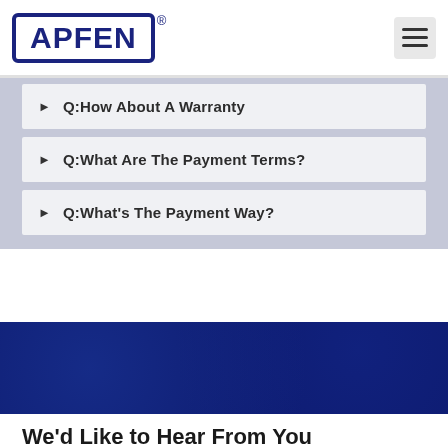APFEN®
Q:How About A Warranty
Q:What Are The Payment Terms?
Q:What's The Payment Way?
We'd Like to Hear From You
Get In Touch And Let Us Know What We Can